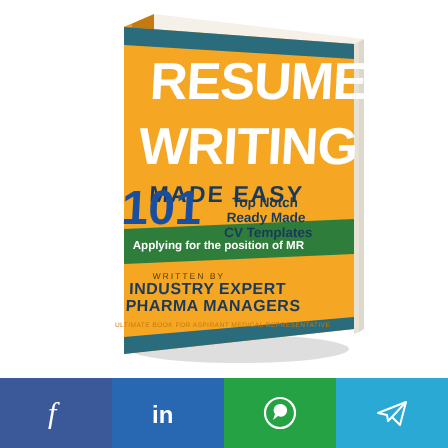[Figure (illustration): 3D book cover titled 'RESUME WRITING MADE EASY – 101 Top Notch Ready Made CV Templates – Applying for the position of MR – Written by Industry Expert Pharma Managers – Ultimate Book for Aspirant Medical Representative'. Orange/yellow cover with dark blue and white text, shown at an angle.]
[Figure (illustration): Social sharing buttons bar with four icons: Facebook (blue), LinkedIn (blue), WhatsApp (green), Telegram (light blue)]